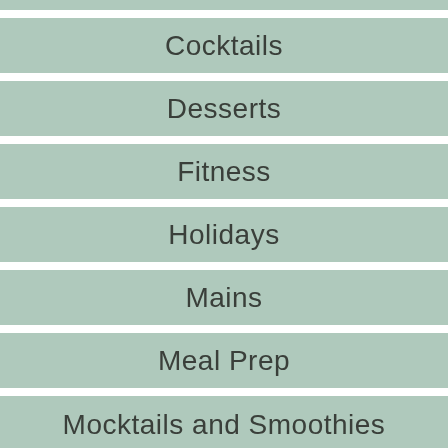Cocktails
Desserts
Fitness
Holidays
Mains
Meal Prep
Mocktails and Smoothies